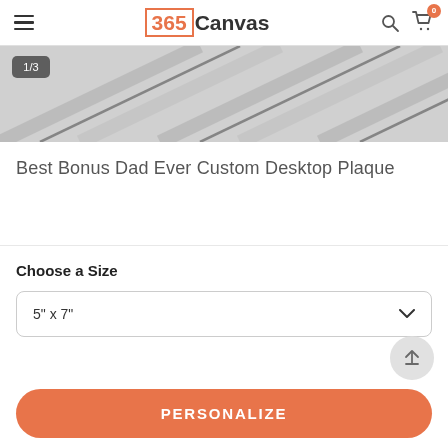365Canvas
[Figure (photo): Close-up of light grey wood planks seen from a perspective angle, forming diagonal lines. Image counter badge shows '1/3' in top-left corner.]
Best Bonus Dad Ever Custom Desktop Plaque
Choose a Size
5" x 7"
PERSONALIZE